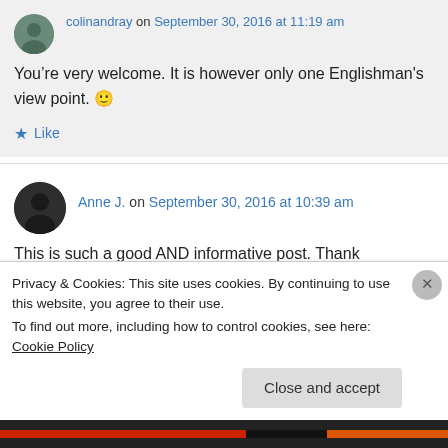colinandray on September 30, 2016 at 11:19 am
You’re very welcome. It is however only one Englishman's view point. 🙂
Like
Anne J. on September 30, 2016 at 10:39 am
This is such a good AND informative post. Thank
Privacy & Cookies: This site uses cookies. By continuing to use this website, you agree to their use.
To find out more, including how to control cookies, see here: Cookie Policy
Close and accept